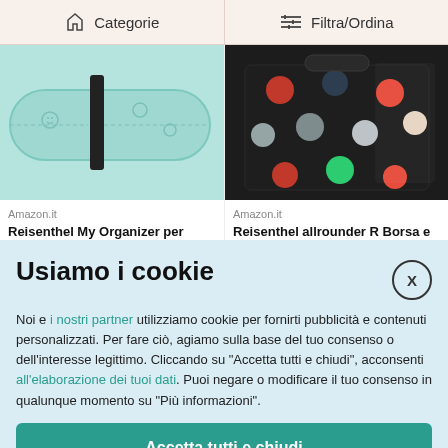Categorie
Filtra/Ordina
[Figure (photo): Reisenthel mint/teal organizer roll with smiley face pattern]
[Figure (photo): Reisenthel dark navy polka dot bag/backpack]
Amazon.it
Reisenthel My Organizer per Bambini
Amazon.it
Reisenthel allrounder R Borsa e Zaino da Viaggio 2
Usiamo i cookie
Noi e i nostri partner utilizziamo cookie per fornirti pubblicità e contenuti personalizzati. Per fare ciò, agiamo sulla base del tuo consenso o dell'interesse legittimo. Cliccando su "Accetta tutti e chiudi", acconsenti all'elaborazione dei tuoi dati. Puoi negare o modificare il tuo consenso in qualunque momento su "Più informazioni".
Accetta tutti e chiudi
Più informazioni